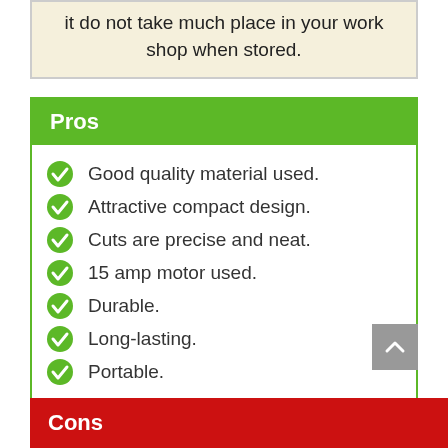it do not take much place in your work shop when stored.
Pros
Good quality material used.
Attractive compact design.
Cuts are precise and neat.
15 amp motor used.
Durable.
Long-lasting.
Portable.
Cons